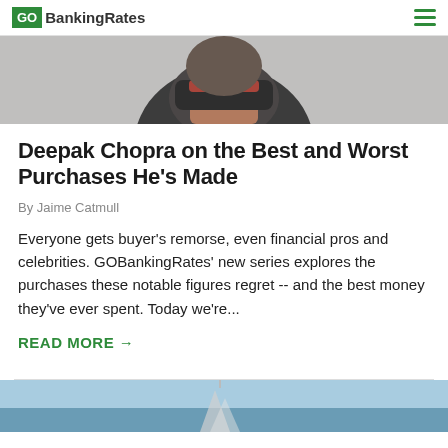GOBankingRates
[Figure (photo): Partial photo of a person wearing dark clothing with a red collar, cropped at the chin/neck area, gray background]
Deepak Chopra on the Best and Worst Purchases He's Made
By Jaime Catmull
Everyone gets buyer's remorse, even financial pros and celebrities. GOBankingRates' new series explores the purchases these notable figures regret -- and the best money they've ever spent. Today we're...
READ MORE →
[Figure (photo): Partial view of a photo at the bottom of the page, appears to show a blue sky and structure]